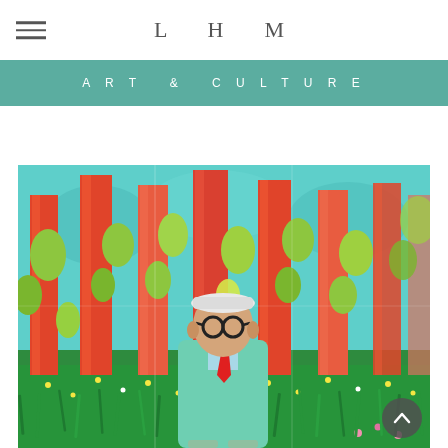LHM
ART & CULTURE
[Figure (photo): An elderly man wearing a white cap, round black glasses, light blue shirt, red tie, and mint green jacket stands in front of a large colorful painting featuring tall orange/red tree trunks, green foliage, and a meadow with yellow wildflowers on a bright turquoise background.]